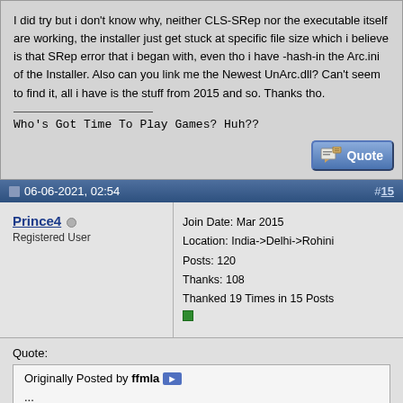I did try but i don't know why, neither CLS-SRep nor the executable itself are working, the installer just get stuck at specific file size which i believe is that SRep error that i began with, even tho i have -hash-in the Arc.ini of the Installer. Also can you link me the Newest UnArc.dll? Can't seem to find it, all i have is the stuff from 2015 and so. Thanks tho.
Who's Got Time To Play Games? Huh??
06-06-2021, 02:54  #15
Prince4
Registered User
Join Date: Mar 2015
Location: India->Delhi->Rohini
Posts: 120
Thanks: 108
Thanked 19 Times in 15 Posts
Quote:
Originally Posted by ffmla
...
Tried Both -kb and -baM didn't work, -kb still gives CRC Error after Srep->pZLib->Zip-Error